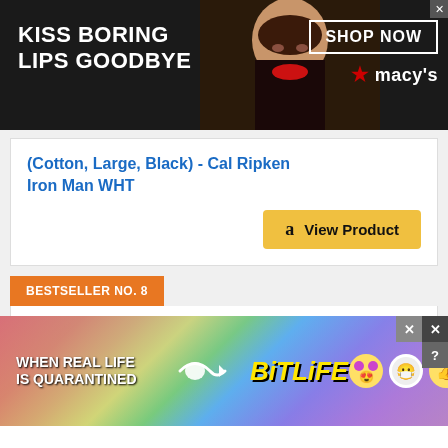[Figure (photo): Top advertisement banner for Macy's lipstick with text 'KISS BORING LIPS GOODBYE', a woman's face with red lips, 'SHOP NOW' button and Macy's logo]
(Cotton, Large, Black) - Cal Ripken Iron Man WHT
[Figure (screenshot): Amazon 'View Product' button with Amazon logo]
BESTSELLER NO. 8
[Figure (photo): Gray t-shirt with Cal Ripken Jr. / RIPKEN JR 21 graphic print]
[Figure (photo): BitLife advertisement banner: 'WHEN REAL LIFE IS QUARANTINED' with BitLife logo and emoji icons]